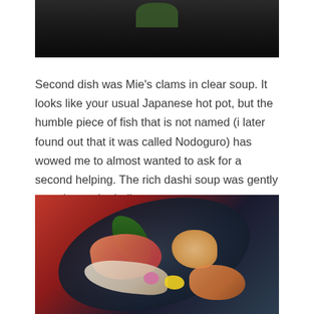[Figure (photo): Top portion of a Japanese dish photo showing dark bowl with green garnish visible at top of page]
Second dish was Mie's clams in clear soup. It looks like your usual Japanese hot pot, but the humble piece of fish that is not named (i later found out that it was called Nodoguro) has wowed me to almost wanted to ask for a second helping. The rich dashi soup was gently warming to the belly.
[Figure (photo): Japanese sashimi platter on a dark blue plate with salmon, white fish, shrimp, and garnishes including green leaves, pink flowers, and yellow flowers, on a red background]